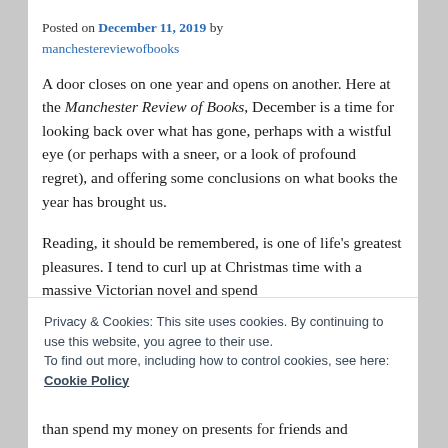Posted on December 11, 2019 by manchestereviewofbooks
A door closes on one year and opens on another. Here at the Manchester Review of Books, December is a time for looking back over what has gone, perhaps with a wistful eye (or perhaps with a sneer, or a look of profound regret), and offering some conclusions on what books the year has brought us.
Reading, it should be remembered, is one of life's greatest pleasures. I tend to curl up at Christmas time with a massive Victorian novel and spend
Privacy & Cookies: This site uses cookies. By continuing to use this website, you agree to their use.
To find out more, including how to control cookies, see here:
Cookie Policy
Close and accept
than spend my money on presents for friends and